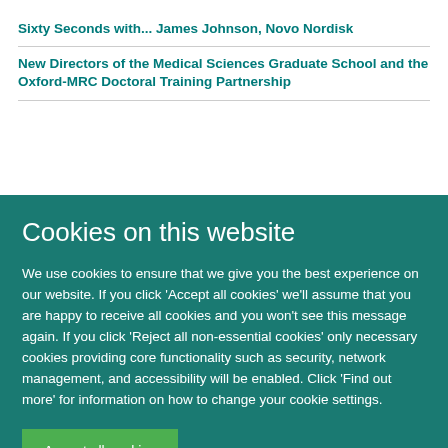Sixty Seconds with... James Johnson, Novo Nordisk
New Directors of the Medical Sciences Graduate School and the Oxford-MRC Doctoral Training Partnership
Cookies on this website
We use cookies to ensure that we give you the best experience on our website. If you click 'Accept all cookies' we'll assume that you are happy to receive all cookies and you won't see this message again. If you click 'Reject all non-essential cookies' only necessary cookies providing core functionality such as security, network management, and accessibility will be enabled. Click 'Find out more' for information on how to change your cookie settings.
Accept all cookies
Reject all non-essential cookies
Find out more